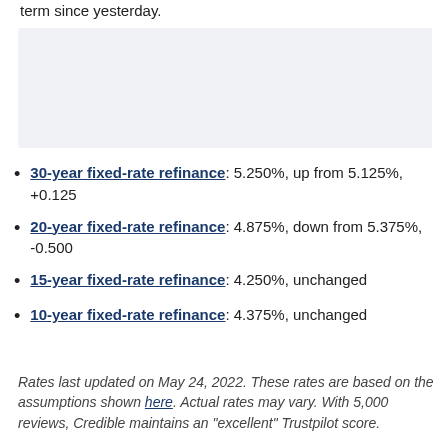term since yesterday.
[Figure (other): Advertisement or placeholder box with light gray background]
30-year fixed-rate refinance: 5.250%, up from 5.125%, +0.125
20-year fixed-rate refinance: 4.875%, down from 5.375%, -0.500
15-year fixed-rate refinance: 4.250%, unchanged
10-year fixed-rate refinance: 4.375%, unchanged
Rates last updated on May 24, 2022. These rates are based on the assumptions shown here. Actual rates may vary. With 5,000 reviews, Credible maintains an "excellent" Trustpilot score.